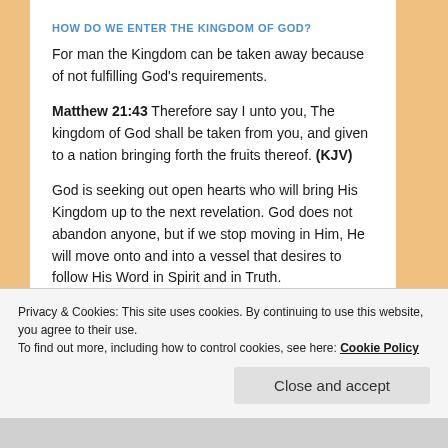HOW DO WE ENTER THE KINGDOM OF GOD?
For man the Kingdom can be taken away because of not fulfilling God’s requirements.
Matthew 21:43 Therefore say I unto you, The kingdom of God shall be taken from you, and given to a nation bringing forth the fruits thereof. (KJV)
God is seeking out open hearts who will bring His Kingdom up to the next revelation. God does not abandon anyone, but if we stop moving in Him, He will move onto and into a vessel that desires to follow His Word in Spirit and in Truth.
Privacy & Cookies: This site uses cookies. By continuing to use this website, you agree to their use.
To find out more, including how to control cookies, see here: Cookie Policy